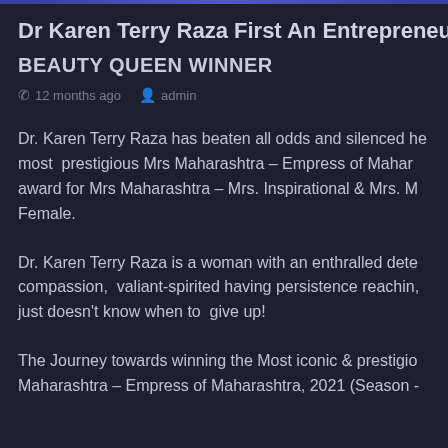Dr Karen Terry Raza First An Entrepreneur Then A Ph
BEAUTY QUEEN WINNER
12 months ago  admin
Dr. Karen Terry Raza has beaten all odds and silenced he most prestigious Mrs Maharashtra – Empress of Mahar award for Mrs Maharashtra – Mrs. Inspirational & Mrs. M Female.
Dr. Karen Terry Raza is a woman with an enthralled dete compassion, valiant-spirited having persistence reachin, just doesn't know when to give up!
The Journey towards winning the Most iconic & prestigio Maharashtra – Empress of Maharashtra, 2021 (Season -